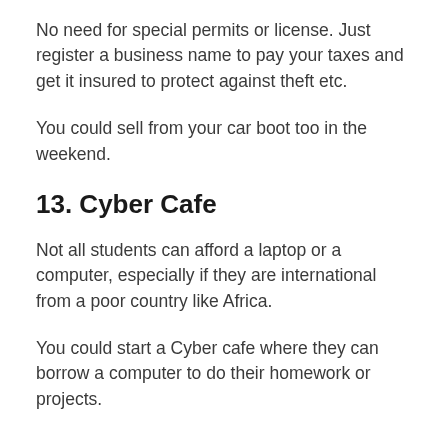No need for special permits or license. Just register a business name to pay your taxes and get it insured to protect against theft etc.
You could sell from your car boot too in the weekend.
13. Cyber Cafe
Not all students can afford a laptop or a computer, especially if they are international from a poor country like Africa.
You could start a Cyber cafe where they can borrow a computer to do their homework or projects.